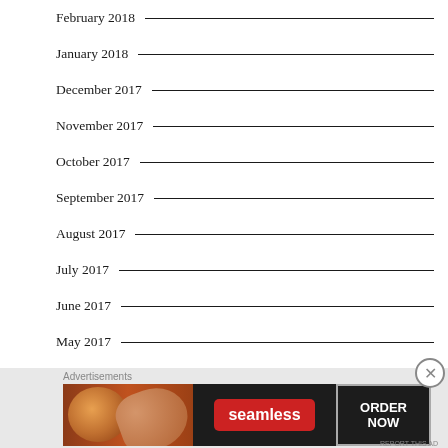February 2018
January 2018
December 2017
November 2017
October 2017
September 2017
August 2017
July 2017
June 2017
May 2017
April 2017
March 2017
[Figure (screenshot): Seamless food delivery advertisement banner with pizza image, Seamless logo in red, and ORDER NOW button]